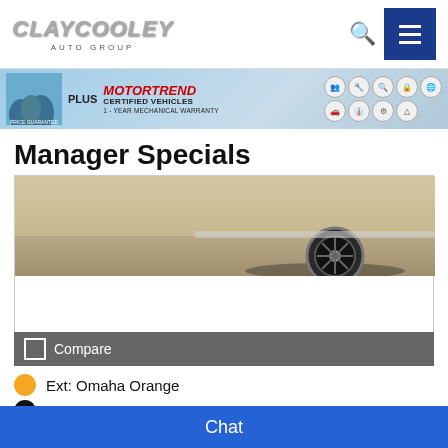[Figure (logo): Clay Cooley Auto Group logo with metallic chrome text and 'AUTO GROUP' subtitle]
[Figure (infographic): MotorTrend Certified Vehicles banner with PLUS logo, red MotorTrend text, certified vehicle icons, and 1-Year Mechanical Warranty text]
Manager Specials
[Figure (photo): Partial photo of a vehicle showing a wheel and pavement]
Compare
Ext: Omaha Orange
Int: Black
VIN: ZACCJABH6FPC12469
Stock #: DV13465
Chat